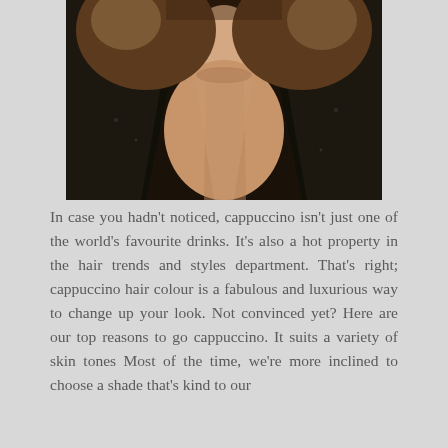[Figure (photo): A woman with brown wavy hair wearing a black sequined jacket, photographed from the shoulders up/chest area, showing her neck and décolletage.]
In case you hadn't noticed, cappuccino isn't just one of the world's favourite drinks. It's also a hot property in the hair trends and styles department. That's right; cappuccino hair colour is a fabulous and luxurious way to change up your look. Not convinced yet? Here are our top reasons to go cappuccino. It suits a variety of skin tones Most of the time, we're more inclined to choose a shade that's kind to our